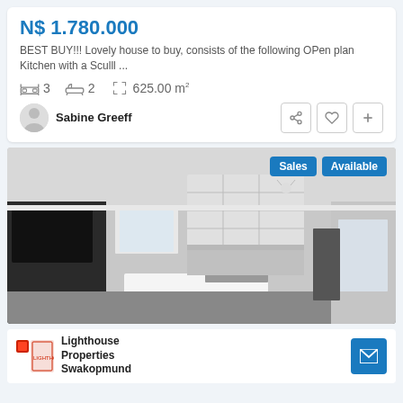N$ 1.780.000
BEST BUY!!! Lovely house to buy, consists of the following OPen plan Kitchen with a Sculll ...
3 bedrooms  2 bathrooms  625.00 m²
Sabine Greeff
[Figure (photo): Interior photo of a modern open-plan kitchen with white cabinetry, kitchen island, and grey flooring. Tags 'Sales' and 'Available' overlaid top-right.]
Lighthouse Properties Swakopmund